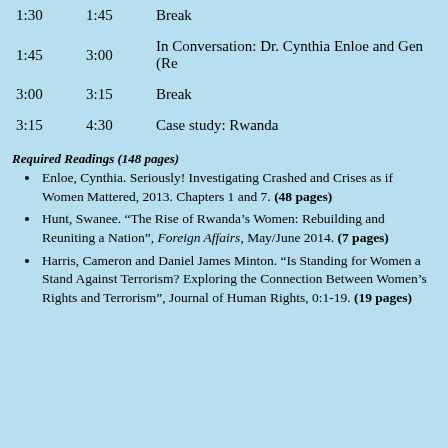| Start | End | Description |
| --- | --- | --- |
| 1:30 | 1:45 | Break |
| 1:45 | 3:00 | In Conversation: Dr. Cynthia Enloe and Gen (Re... |
| 3:00 | 3:15 | Break |
| 3:15 | 4:30 | Case study: Rwanda |
Required Readings (148 pages)
Enloe, Cynthia. Seriously! Investigating Crashed and Crises as if Women Mattered, 2013. Chapters 1 and 7. (48 pages)
Hunt, Swanee. “The Rise of Rwanda’s Women: Rebuilding and Reuniting a Nation”, Foreign Affairs, May/June 2014. (7 pages)
Harris, Cameron and Daniel James Minton. “Is Standing for Women a Stand Against Terrorism? Exploring the Connection Between Women’s Rights and Terrorism”, Journal of Human Rights, 0:1-19. (19 pages)